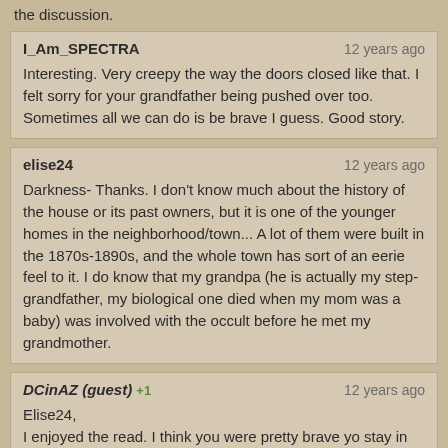the discussion.
I_Am_SPECTRA
12 years ago
Interesting. Very creepy the way the doors closed like that. I felt sorry for your grandfather being pushed over too. Sometimes all we can do is be brave I guess. Good story.
elise24
12 years ago
Darkness- Thanks. I don't know much about the history of the house or its past owners, but it is one of the younger homes in the neighborhood/town... A lot of them were built in the 1870s-1890s, and the whole town has sort of an eerie feel to it. I do know that my grandpa (he is actually my step-grandfather, my biological one died when my mom was a baby) was involved with the occult before he met my grandmother.
DCinAZ (guest) +1
12 years ago
Elise24,
I enjoyed the read. I think you were pretty brave yo stay in the room while this happened. I know so many that would have been out like a shot! But, like you said, the way out was even